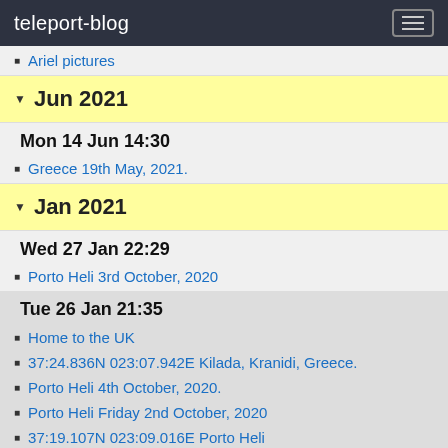teleport-blog
Ariel pictures
Jun 2021
Mon 14 Jun 14:30
Greece 19th May, 2021.
Jan 2021
Wed 27 Jan 22:29
Porto Heli 3rd October, 2020
Tue 26 Jan 21:35
Home to the UK
37:24.836N 023:07.942E Kilada, Kranidi, Greece.
Porto Heli 4th October, 2020.
Porto Heli Friday 2nd October, 2020
37:19.107N 023:09.016E Porto Heli
37:22.999N 023:14.868EErmioni
37:31.134N 023:24.212E Bay north of Poros
(no subject)
37:30.124N 023:27.273E Poros